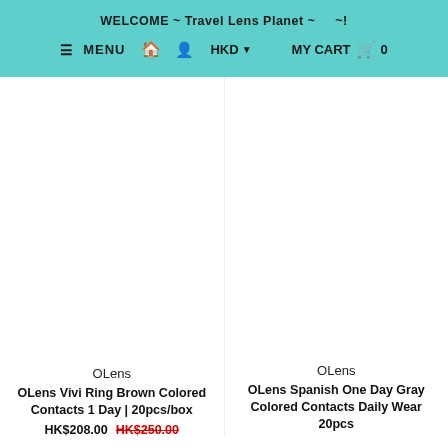WELCOME ~ Travel Lens Planet ~ ~!
≡ MENU  🏠  👤  HKD ▾  MY CART 🛒 0
[Figure (photo): Product image area for OLens Vivi Ring Brown Colored Contacts (blank/white)]
OLens
OLens Vivi Ring Brown Colored Contacts 1 Day | 20pcs/box
HK$208.00  HK$250.00
[Figure (photo): Product image area for OLens Spanish One Day Gray Colored Contacts (blank/white)]
OLens
OLens Spanish One Day Gray Colored Contacts Daily Wear 20pcs